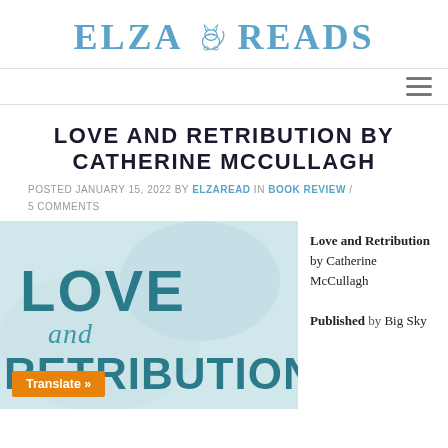Elza Reads
LOVE AND RETRIBUTION BY CATHERINE MCCULLAGH
POSTED JANUARY 15, 2022 BY ELZAREAD IN BOOK REVIEW / 5 COMMENTS
[Figure (photo): Book cover for Love and Retribution showing teal and teal-colored large text 'LOVE and RETRIBUTION' with a light blue abstract background. An orange 'Translate »' button appears at the bottom left.]
Love and Retribution by Catherine McCullagh
Published by Big Sky